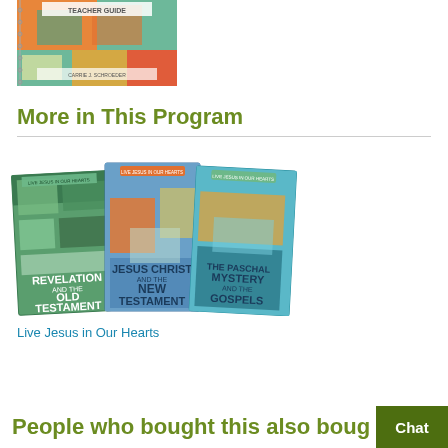[Figure (photo): Top portion of a book cover labeled Teacher Guide with colorful geometric pattern, author name Carrie J. Schroeder]
More in This Program
[Figure (photo): Three book covers: Revelation and the Old Testament, Jesus Christ and the New Testament, The Paschal Mystery and the Gospels — part of Live Jesus in Our Hearts program]
Live Jesus in Our Hearts
People who bought this also boug